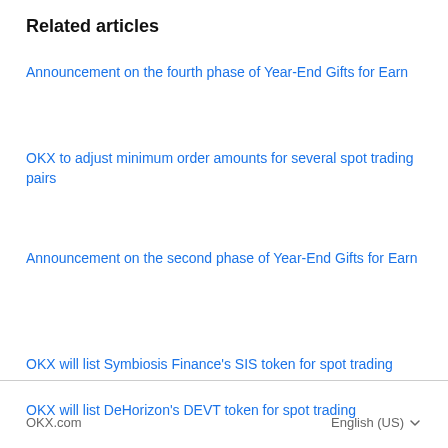Related articles
Announcement on the fourth phase of Year-End Gifts for Earn
OKX to adjust minimum order amounts for several spot trading pairs
Announcement on the second phase of Year-End Gifts for Earn
OKX will list Symbiosis Finance's SIS token for spot trading
OKX will list DeHorizon's DEVT token for spot trading
OKX.com   English (US)